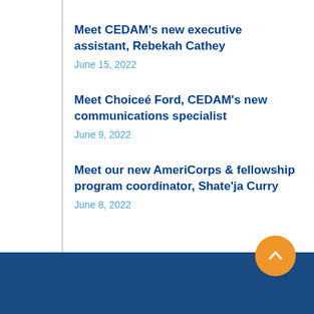Meet CEDAM’s new executive assistant, Rebekah Cathey
June 15, 2022
Meet Choiceé Ford, CEDAM’s new communications specialist
June 9, 2022
Meet our new AmeriCorps & fellowship program coordinator, Shate’ja Curry
June 8, 2022